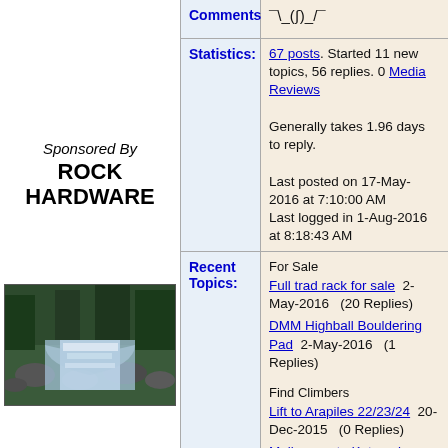Sponsored By
ROCK HARDWARE
[Figure (photo): Waterfall stream with rocks and forest]
| Label | Content |
| --- | --- |
| Comments: | ¯\_(ツ)_/¯ |
| Statistics: | 67 posts. Started 11 new topics, 56 replies. 0 Media Reviews

Generally takes 1.96 days to reply.

Last posted on 17-May-2016 at 7:10:00 AM
Last logged in 1-Aug-2016 at 8:18:43 AM |
| Recent Topics: | For Sale
Full trad rack for sale  2-May-2016  (20 Replies)
DMM Highball Bouldering Pad  2-May-2016  (1 Replies)

Find Climbers
Lift to Arapiles 22/23/24  20-Dec-2015  (0 Replies)
Melbourne to Katoomba return trip (leave 5th, retu  4-Dec-2015  (0 Replies)

Gear Lust / Lost & Found
Climbing rope saving you when you're not climbing.  9-Nov-2015  (5 Replies) |